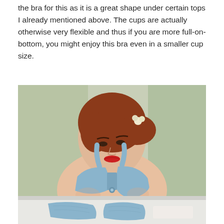the bra for this as it is a great shape under certain tops I already mentioned above. The cups are actually otherwise very flexible and thus if you are more full-on-bottom, you might enjoy this bra even in a smaller cup size.
[Figure (photo): A woman with red hair and a flower accessory wearing a light blue bra, looking downward, posed against a light background.]
[Figure (photo): Partial bottom image showing what appears to be a light blue garment or bra laid on a surface.]